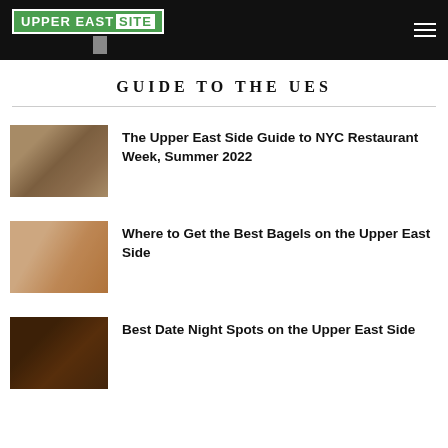Upper East Site
GUIDE TO THE UES
[Figure (photo): Restaurant table setting with plates and glassware]
The Upper East Side Guide to NYC Restaurant Week, Summer 2022
[Figure (photo): Hand holding a bagel sandwich]
Where to Get the Best Bagels on the Upper East Side
[Figure (photo): Dimly lit bar/restaurant date night atmosphere]
Best Date Night Spots on the Upper East Side